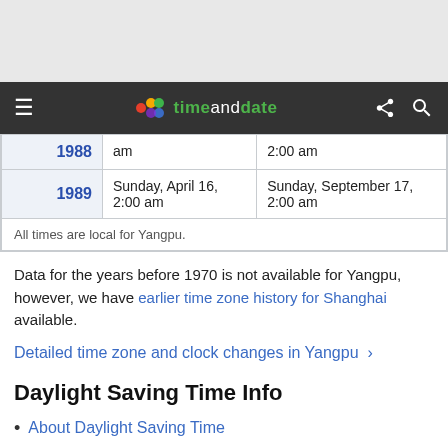timeanddate
| Year | DST Start | DST End |
| --- | --- | --- |
| 1988 | ... am | 2:00 am |
| 1989 | Sunday, April 16, 2:00 am | Sunday, September 17, 2:00 am |
Data for the years before 1970 is not available for Yangpu, however, we have earlier time zone history for Shanghai available.
Detailed time zone and clock changes in Yangpu ›
Daylight Saving Time Info
About Daylight Saving Time
DST in year 2022